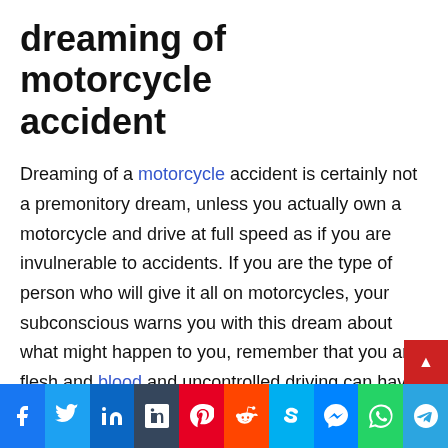dreaming of motorcycle accident
Dreaming of a motorcycle accident is certainly not a premonitory dream, unless you actually own a motorcycle and drive at full speed as if you are invulnerable to accidents. If you are the type of person who will give it all on motorcycles, your subconscious warns you with this dream about what might happen to you, remember that you are flesh and blood and uncontrolled driving can have serious consequences.
If you don't have a motorcycle, or if you own one, but you drive with caution, this horrible dream reveals that you are an independent person when it comes to undertaking and developing ideas, you like to set your speed and ride at a fa…